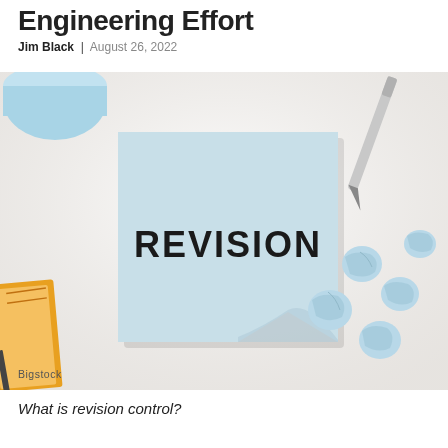Engineering Effort
Jim Black | August 26, 2022
[Figure (photo): A light blue sticky note with the word REVISION written in bold black marker, placed on a white desk surface surrounded by crumpled light blue paper balls, a pen, a notebook, and a white cup in the background.]
Bigstock
What is revision control?